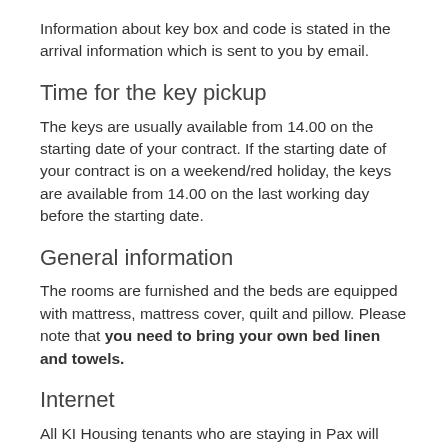Information about key box and code is stated in the arrival information which is sent to you by email.
Time for the key pickup
The keys are usually available from 14.00 on the starting date of your contract. If the starting date of your contract is on a weekend/red holiday, the keys are available from 14.00 on the last working day before the starting date.
General information
The rooms are furnished and the beds are equipped with mattress, mattress cover, quilt and pillow. Please note that you need to bring your own bed linen and towels.
Internet
All KI Housing tenants who are staying in Pax will have to register on an activation portal provided by the internet